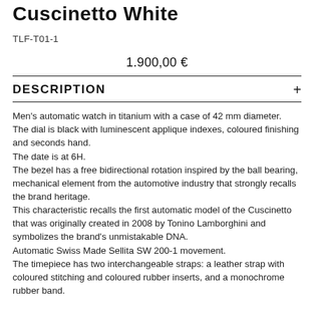Cuscinetto White
TLF-T01-1
1.900,00 €
DESCRIPTION
Men's automatic watch in titanium with a case of 42 mm diameter.
The dial is black with luminescent applique indexes, coloured finishing and seconds hand.
The date is at 6H.
The bezel has a free bidirectional rotation inspired by the ball bearing, mechanical element from the automotive industry that strongly recalls the brand heritage.
This characteristic recalls the first automatic model of the Cuscinetto that was originally created in 2008 by Tonino Lamborghini and symbolizes the brand's unmistakable DNA.
Automatic Swiss Made Sellita SW 200-1 movement.
The timepiece has two interchangeable straps: a leather strap with coloured stitching and coloured rubber inserts, and a monochrome rubber band.